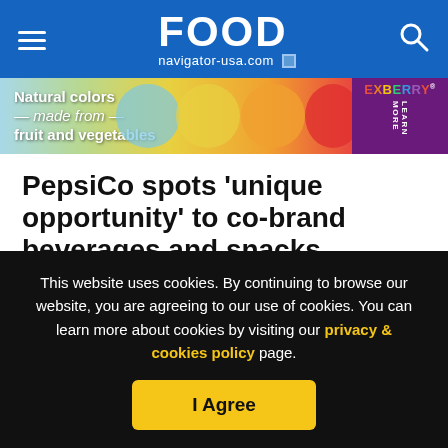FOOD navigator-usa.com
[Figure (illustration): Exberry ad banner: Natural colors made from fruit and vegetables, with colorful swirled cookies and Exberry logo]
PepsiCo spots ‘unique opportunity’ to co-brand beverages and snacks
[Figure (infographic): Social sharing icons: Facebook, Twitter, LinkedIn, Email, and font size controls]
This website uses cookies. By continuing to browse our website, you are agreeing to our use of cookies. You can learn more about cookies by visiting our privacy & cookies policy page.
I Agree